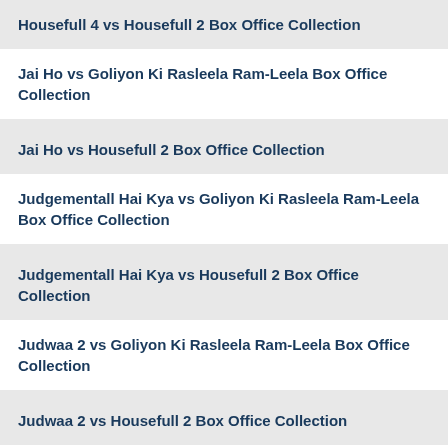Housefull 4 vs Housefull 2 Box Office Collection
Jai Ho vs Goliyon Ki Rasleela Ram-Leela Box Office Collection
Jai Ho vs Housefull 2 Box Office Collection
Judgementall Hai Kya vs Goliyon Ki Rasleela Ram-Leela Box Office Collection
Judgementall Hai Kya vs Housefull 2 Box Office Collection
Judwaa 2 vs Goliyon Ki Rasleela Ram-Leela Box Office Collection
Judwaa 2 vs Housefull 2 Box Office Collection
Kaabil vs Goliyon Ki Rasleela Ram-Leela Box Office Collection
Kaabil vs Housefull 2 Box Office Collection